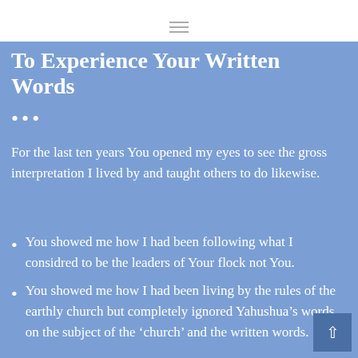To Experience Your Written Words
...
For the last ten years You opened my eyes to see the gross interpretation I lived by and taught others to do likewise.
You showed me how I had been following what I considred to be the leaders of Your flock not You.
You showed me how I had been living by the rules of the earthly church but completely ignored Yahushua's words on the subject of the 'church' and the written words.